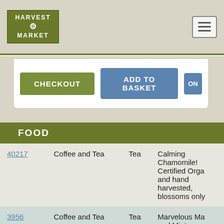Harvest Market
FOOD
| ID | Category | Subcategory | Description |
| --- | --- | --- | --- |
| 40217 | Coffee and Tea | Tea | Calming Chamomile! Certified Orga and hand harvested, blossoms only |
| 3956 | Coffee and Tea | Tea | Marvelous Ma and Mint |
| 1533 | Coffee and Tea | Tea | Organic Green Lemon Verber and Mint blen |
| 1534 | Coffee and Tea | Tea | Organic Green |